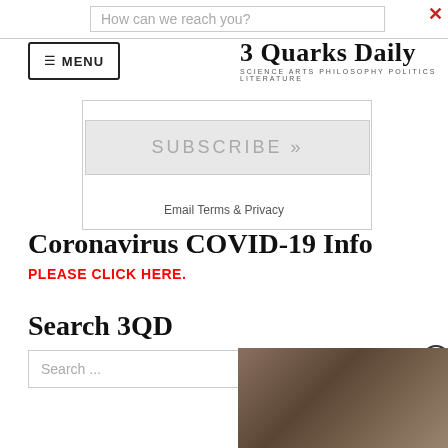How can we reach you?
3 Quarks Daily — SCIENCE ARTS PHILOSOPHY POLITICS LITERATURE
SUBSCRIBE »
Email Terms & Privacy
Coronavirus COVID-19 Info
PLEASE CLICK HERE.
Search 3QD
Search ...
[Figure (screenshot): Video player overlay showing a close-up image of animals (possibly birds or reptiles), with a play button in the center and a close (X) button in the top right corner.]